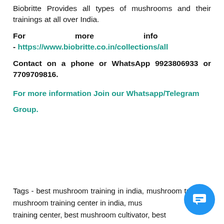Biobritte Provides all types of mushrooms and their trainings at all over India.
For more info - https://www.biobritte.co.in/collections/all
Contact on a phone or WhatsApp 9923806933 or 7709709816.
For more information Join our Whatsapp/Telegram Group.
Tags - best mushroom training in india, mushroom training, mushroom training center in india, mushroom training center, best mushroom cultivator, best